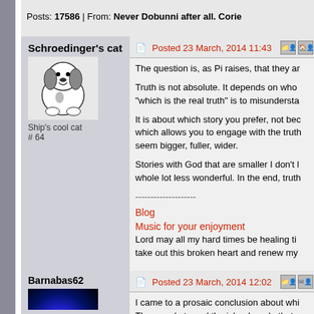Posts: 17586 | From: Never Dobunni after all. Corie...
Schroedinger's cat
[Figure (illustration): Snoopy cartoon avatar image]
Ship's cool cat
# 64
Posted 23 March, 2014 11:43
The question is, as Pi raises, that they ar...
Truth is not absolute. It depends on who ... "which is the real truth" is to misundersta...
It is about which story you prefer, not bec... which allows you to engage with the truth... seem bigger, fuller, wider.
Stories with God that are smaller I don't l... whole lot less wonderful. In the end, truth...
--------------------
Blog
Music for your enjoyment
Lord may all my hard times be healing ti... take out this broken heart and renew my ...
Posts: 18859 | From: At the bottom of a deep dark v...
Barnabas62
[Figure (photo): Dark background with glowing purple/blue orb avatar for Barnabas62]
Shipmate
# 9110
Posted 23 March, 2014 12:02
I came to a prosaic conclusion about whi... The meerkats and the island made that c...
Loved the movie, but it was disturbing. I t...